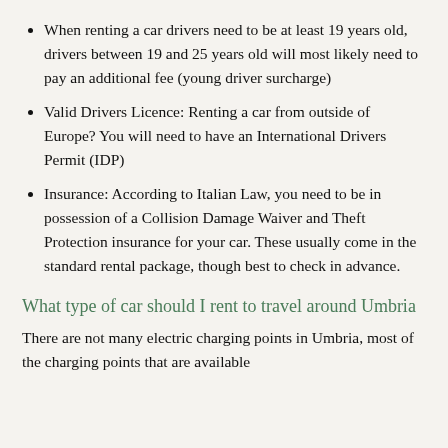When renting a car drivers need to be at least 19 years old, drivers between 19 and 25 years old will most likely need to pay an additional fee (young driver surcharge)
Valid Drivers Licence: Renting a car from outside of Europe? You will need to have an International Drivers Permit (IDP)
Insurance: According to Italian Law, you need to be in possession of a Collision Damage Waiver and Theft Protection insurance for your car. These usually come in the standard rental package, though best to check in advance.
What type of car should I rent to travel around Umbria
There are not many electric charging points in Umbria, most of the charging points that are available